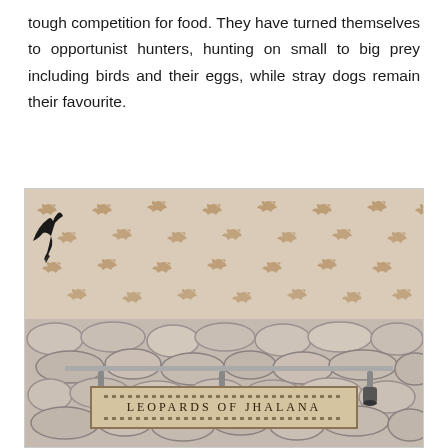tough competition for food. They have turned themselves to opportunist hunters, hunting on small to big prey including birds and their eggs, while stray dogs remain their favourite.
[Figure (photo): A exhibit or display board titled 'LEOPARDS OF JHALANA'. The top portion features decorative wallpaper with repeated crown/antler motif patterns in brown on a beige background, with a bird silhouette visible. The bottom portion shows a stone wall texture. A sign reading 'LEOPARDS OF JHALANA' is mounted at the bottom, with spotlight fixtures on a rail above it.]